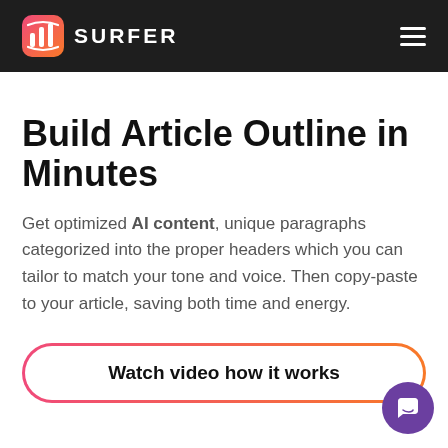SURFER
Build Article Outline in Minutes
Get optimized AI content, unique paragraphs categorized into the proper headers which you can tailor to match your tone and voice. Then copy-paste to your article, saving both time and energy.
Watch video how it works